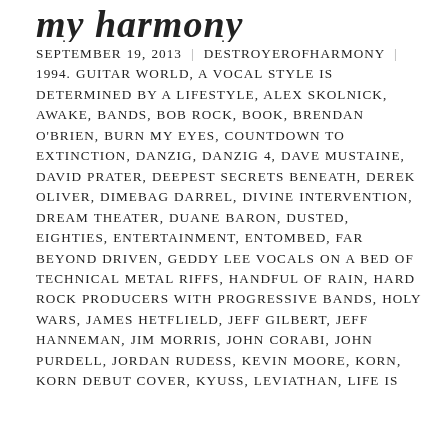my harmony
SEPTEMBER 19, 2013 | DESTROYEROFHARMONY | 1994. GUITAR WORLD, A VOCAL STYLE IS DETERMINED BY A LIFESTYLE, ALEX SKOLNICK, AWAKE, BANDS, BOB ROCK, BOOK, BRENDAN O'BRIEN, BURN MY EYES, COUNTDOWN TO EXTINCTION, DANZIG, DANZIG 4, DAVE MUSTAINE, DAVID PRATER, DEEPEST SECRETS BENEATH, DEREK OLIVER, DIMEBAG DARREL, DIVINE INTERVENTION, DREAM THEATER, DUANE BARON, DUSTED, EIGHTIES, ENTERTAINMENT, ENTOMBED, FAR BEYOND DRIVEN, GEDDY LEE VOCALS ON A BED OF TECHNICAL METAL RIFFS, HANDFUL OF RAIN, HARD ROCK PRODUCERS WITH PROGRESSIVE BANDS, HOLY WARS, JAMES HETFLIELD, JEFF GILBERT, JEFF HANNEMAN, JIM MORRIS, JOHN CORABI, JOHN PURDELL, JORDAN RUDESS, KEVIN MOORE, KORN, KORN DEBUT COVER, KYUSS, LEVIATHAN, LIFE IS